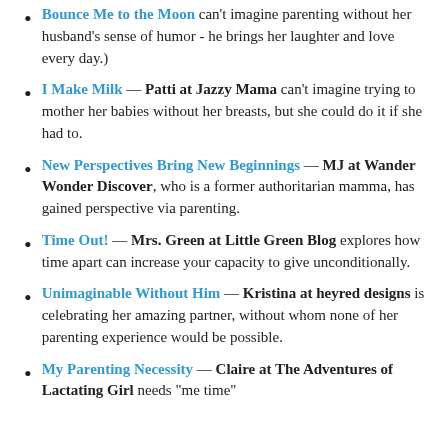Bounce Me to the Moon can't imagine parenting without her husband's sense of humor - he brings her laughter and love every day.)
I Make Milk — Patti at Jazzy Mama can't imagine trying to mother her babies without her breasts, but she could do it if she had to.
New Perspectives Bring New Beginnings — MJ at Wander Wonder Discover, who is a former authoritarian mamma, has gained perspective via parenting.
Time Out! — Mrs. Green at Little Green Blog explores how time apart can increase your capacity to give unconditionally.
Unimaginable Without Him — Kristina at heyred designs is celebrating her amazing partner, without whom none of her parenting experience would be possible.
My Parenting Necessity — Claire at The Adventures of Lactating Girl needs "me time"